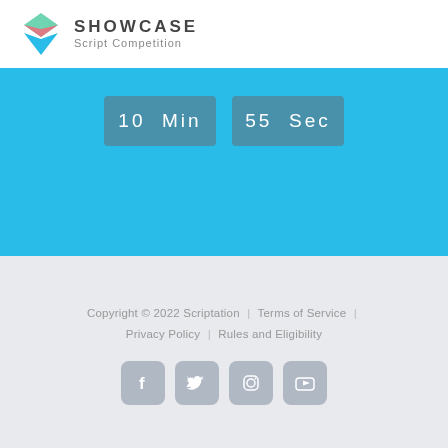[Figure (logo): Showcase Script Competition logo with layered diamond shapes in green, pink, and blue, followed by bold text SHOWCASE and subtitle Script Competition]
[Figure (infographic): Blue countdown timer banner showing '10 Min' and '55 Sec' in grey rounded boxes on a light blue background]
Copyright © 2022 Scriptation | Terms of Service | Privacy Policy | Rules and Eligibility
[Figure (other): Four social media icon buttons: Facebook, Twitter, Instagram, YouTube — grey rounded square buttons]